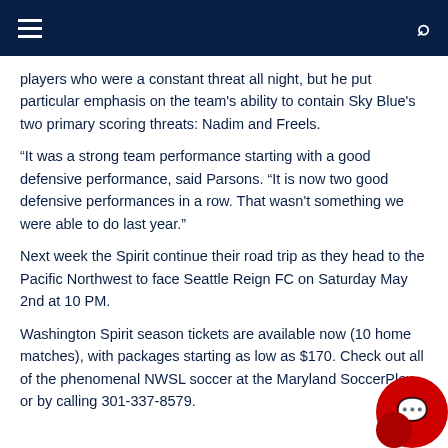Navigation bar with hamburger menu and search icon
players who were a constant threat all night, but he put particular emphasis on the team's ability to contain Sky Blue's two primary scoring threats: Nadim and Freels.
“It was a strong team performance starting with a good defensive performance, said Parsons. “It is now two good defensive performances in a row. That wasn't something we were able to do last year.”
Next week the Spirit continue their road trip as they head to the Pacific Northwest to face Seattle Reign FC on Saturday May 2nd at 10 PM.
Washington Spirit season tickets are available now (10 home matches), with packages starting as low as $170. Check out all of the phenomenal NWSL soccer at the Maryland SoccerPlex or by calling 301-337-8579.
[Figure (other): Red chat widget button in lower right corner]